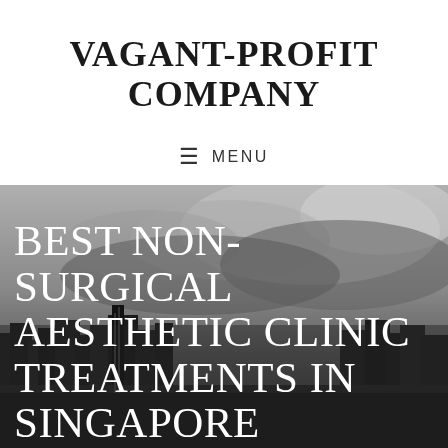VAGANT-PROFIT COMPANY
≡  MENU
[Figure (photo): Black and white cityscape photo showing urban skyline with skyscrapers and dramatic cloudy sky]
BEST NON-SURGICAL AESTHETIC CLINIC TREATMENTS IN SINGAPORE